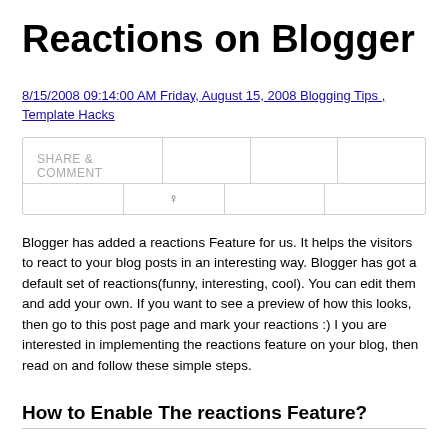Reactions on Blogger
8/15/2008 09:14:00 AM Friday, August 15, 2008 Blogging Tips , Template Hacks
[Figure (screenshot): Share & Comment bar with columns and a divider]
Blogger has added a reactions Feature for us. It helps the visitors to react to your blog posts in an interesting way. Blogger has got a default set of reactions(funny, interesting, cool). You can edit them and add your own. If you want to see a preview of how this looks, then go to this post page and mark your reactions :) I you are interested in implementing the reactions feature on your blog, then read on and follow these simple steps.
How to Enable The reactions Feature?